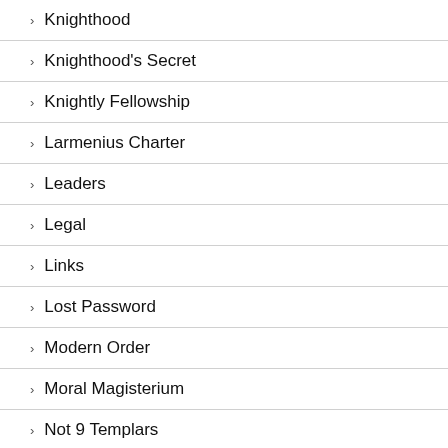Knighthood
Knighthood's Secret
Knightly Fellowship
Larmenius Charter
Leaders
Legal
Links
Lost Password
Modern Order
Moral Magisterium
Not 9 Templars